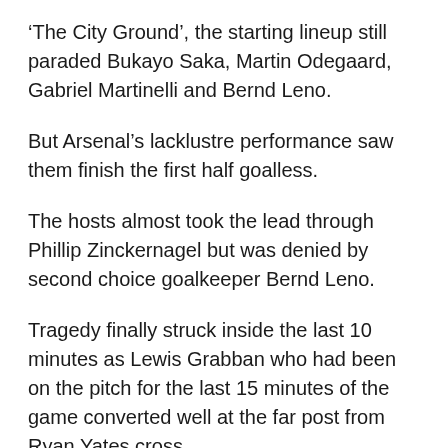‘The City Ground’, the starting lineup still paraded Bukayo Saka, Martin Odegaard, Gabriel Martinelli and Bernd Leno.
But Arsenal’s lacklustre performance saw them finish the first half goalless.
The hosts almost took the lead through Phillip Zinckernagel but was denied by second choice goalkeeper Bernd Leno.
Tragedy finally struck inside the last 10 minutes as Lewis Grabban who had been on the pitch for the last 15 minutes of the game converted well at the far post from Ryan Yates cross.